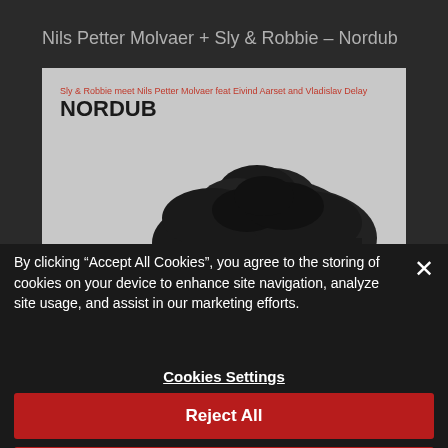Nils Petter Molvaer + Sly & Robbie – Nordub
[Figure (photo): Album cover for NORDUB showing the text 'Sly & Robbie meet Nils Petter Molvaer feat Eivind Aarset and Vladislav Delay' in red, 'NORDUB' in bold black on light gray background, with a dark tree silhouette against gray sky]
By clicking “Accept All Cookies”, you agree to the storing of cookies on your device to enhance site navigation, analyze site usage, and assist in our marketing efforts.
Cookies Settings
Reject All
Accept All Cookies